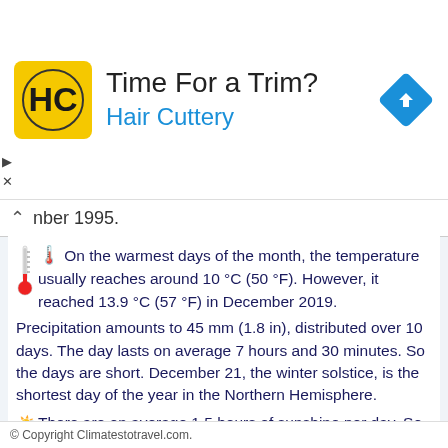[Figure (logo): Hair Cuttery advertisement banner with HC logo in yellow square, 'Time For a Trim?' heading, 'Hair Cuttery' subtitle in blue, and blue diamond arrow icon on right]
nber 1995.
On the warmest days of the month, the temperature usually reaches around 10 °C (50 °F). However, it reached 13.9 °C (57 °F) in December 2019.
Precipitation amounts to 45 mm (1.8 in), distributed over 10 days. The day lasts on average 7 hours and 30 minutes. So the days are short. December 21, the winter solstice, is the shortest day of the year in the Northern Hemisphere.
There are on average 1.5 hours of sunshine per day. So, the sun shines 17% of the time.
The average humidity is 90%. Hence, the air is normally humid.
The average wind speed is 19 kph (12 mph).
The average sea temperature is of 5.5 °C (42.5 °F). Therefore, the sea is very cold for swimming.
© Copyright Climatestotravel.com.